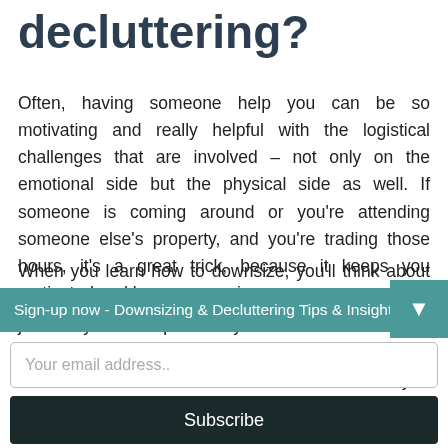decluttering?
Often, having someone help you can be so motivating and really helpful with the logistical challenges that are involved – not only on the emotional side but the physical side as well. If someone is coming around or you're attending someone else's property, and you're trading those hours, it's a great trick, because it keeps you motivated and keeps you going.
When you learn how to downsize, you'll think about this part-time job as yours. It's a part-time Rightsizing job so you can present your house for sale or declutter your house. It's going to take a number of months to do or a number of weeks to do. And if you roster in that calendar, you wil...
Sign-up now - Downsizing & Decluttering Tips & Insights!
Your email address..
Subscribe